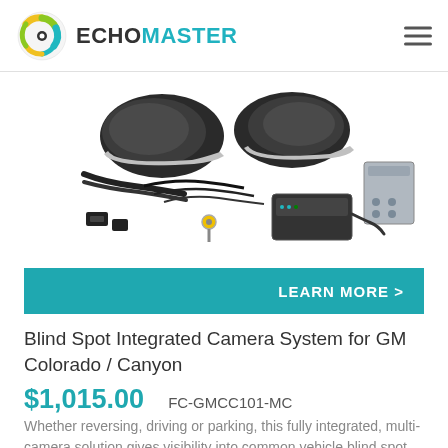ECHOMASTER
[Figure (photo): Product photo of Blind Spot Integrated Camera System for GM Colorado / Canyon, showing two black mirror covers, wiring harnesses, cables, a control module/box, and a mounting bracket]
LEARN MORE >
Blind Spot Integrated Camera System for GM Colorado / Canyon
$1,015.00    FC-GMCC101-MC
Whether reversing, driving or parking, this fully integrated, multi-camera solution gives visibility into common vehicle blind spot